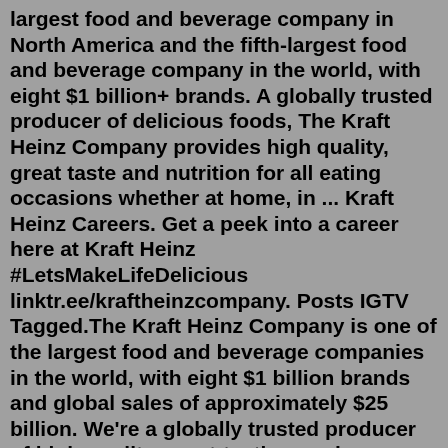largest food and beverage company in North America and the fifth-largest food and beverage company in the world, with eight $1 billion+ brands. A globally trusted producer of delicious foods, The Kraft Heinz Company provides high quality, great taste and nutrition for all eating occasions whether at home, in ... Kraft Heinz Careers. Get a peek into a career here at Kraft Heinz #LetsMakeLifeDelicious linktr.ee/kraftheinzcompany. Posts IGTV Tagged.The Kraft Heinz Company is one of the largest food and beverage companies in the world, with eight $1 billion brands and global sales of approximately $25 billion. We're a globally trusted producer of high-quality, great-tasting, and nutritious foods for over 150 years. While Kraft Heinz is co-headquartered in Chicago and Pittsburgh, our ...Aug 25, 2022 · The Kraft Heinz Company is one of the largest food and beverage companies in the world, with eight $1 billion+ brands and global sales of approximately $25 billion. The Kraft Heinz Company is currently seeking. Entry Level $59k-$69k...